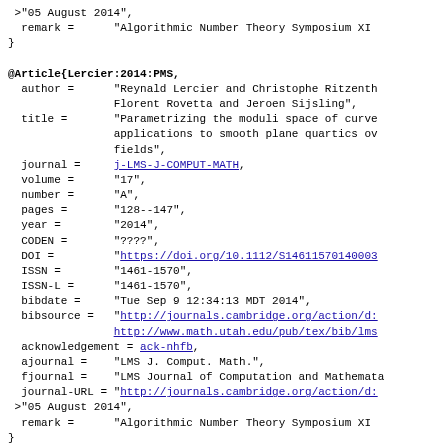onlinedate = "05 August 2014",
  remark =      "Algorithmic Number Theory Symposium XI
}

@Article{Lercier:2014:PMS,
  author =      "Reynald Lercier and Christophe Ritzenth Florent Rovetta and Jeroen Sijsling",
  title =       "Parametrizing the moduli space of curve applications to smooth plane quartics ov fields",
  journal =     j-LMS-J-COMPUT-MATH,
  volume =      "17",
  number =      "A",
  pages =       "128--147",
  year =        "2014",
  CODEN =       "????",
  DOI =         "https://doi.org/10.1112/S14611570140003
  ISSN =        "1461-1570",
  ISSN-L =      "1461-1570",
  bibdate =     "Tue Sep 9 12:34:13 MDT 2014",
  bibsource =   "http://journals.cambridge.org/action/d: http://www.math.utah.edu/pub/tex/bib/lms
  acknowledgement = ack-nhfb,
  ajournal =    "LMS J. Comput. Math.",
  fjournal =    "LMS Journal of Computation and Mathemata
  journal-URL = "http://journals.cambridge.org/action/d:
  onlinedate =  "05 August 2014",
  remark =      "Algorithmic Number Theory Symposium XI
}